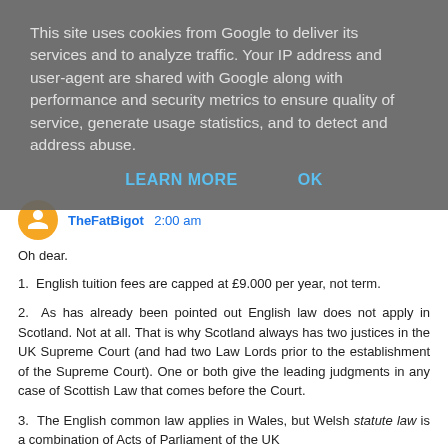This site uses cookies from Google to deliver its services and to analyze traffic. Your IP address and user-agent are shared with Google along with performance and security metrics to ensure quality of service, generate usage statistics, and to detect and address abuse.
LEARN MORE   OK
TheFatBigot 2:00 am
Oh dear.
1. English tuition fees are capped at £9.000 per year, not term.
2. As has already been pointed out English law does not apply in Scotland. Not at all. That is why Scotland always has two justices in the UK Supreme Court (and had two Law Lords prior to the establishment of the Supreme Court). One or both give the leading judgments in any case of Scottish Law that comes before the Court.
3. The English common law applies in Wales, but Welsh statute law is a combination of Acts of Parliament of the UK